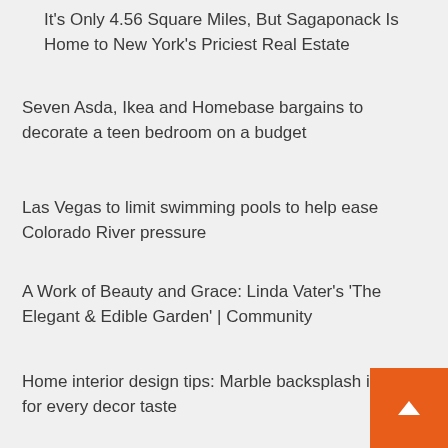It's Only 4.56 Square Miles, But Sagaponack Is Home to New York's Priciest Real Estate
Seven Asda, Ikea and Homebase bargains to decorate a teen bedroom on a budget
Las Vegas to limit swimming pools to help ease Colorado River pressure
A Work of Beauty and Grace: Linda Vater's 'The Elegant & Edible Garden' | Community
Home interior design tips: Marble backsplash ideas for every decor taste
ARCHIVES
July 2022
June 2022